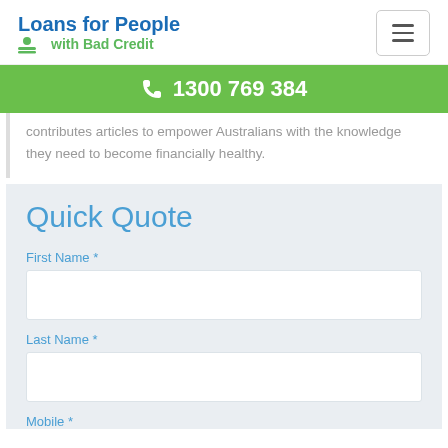Loans for People with Bad Credit
1300 769 384
contributes articles to empower Australians with the knowledge they need to become financially healthy.
Quick Quote
First Name *
Last Name *
Mobile *